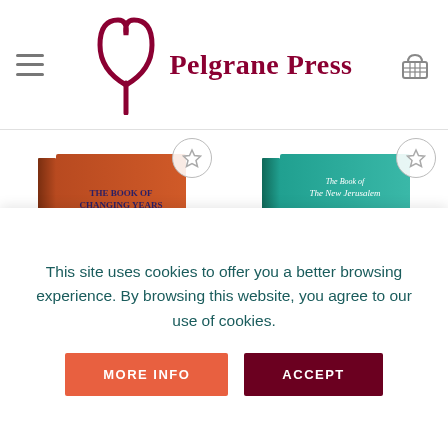Pelgrane Press
[Figure (illustration): Book cover: The Book of Changing Years — orange/terracotta cover with dark blue ornamental bird/tree motif]
[Figure (illustration): Book cover: The Book of the New Jerusalem — teal/turquoise cover with sunset landscape photograph]
The Book of Changing Years
The Book of the New
This site uses cookies to offer you a better browsing experience. By browsing this website, you agree to our use of cookies.
MORE INFO
ACCEPT